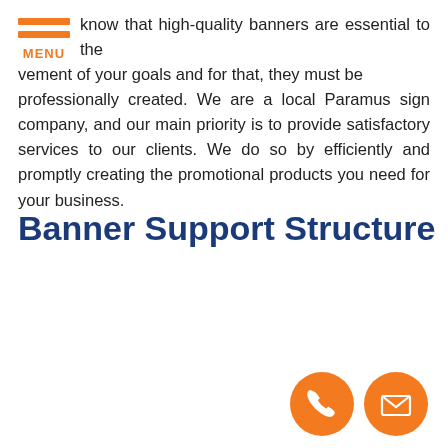MENU
know that high-quality banners are essential to thevement of your goals and for that, they must be professionally created. We are a local Paramus sign company, and our main priority is to provide satisfactory services to our clients. We do so by efficiently and promptly creating the promotional products you need for your business.
Banner Support Structure
[Figure (illustration): Two orange circular icon buttons at bottom right: a phone/call icon and an email/envelope icon]